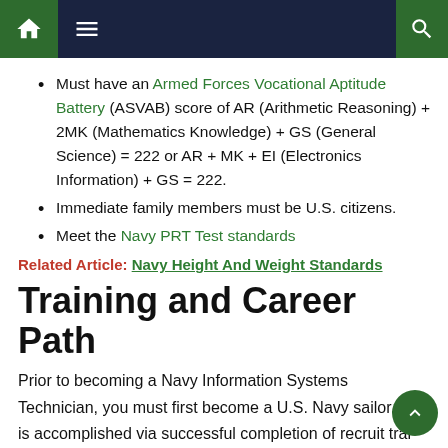Navigation bar with home, menu, and search icons
Must have an Armed Forces Vocational Aptitude Battery (ASVAB) score of AR (Arithmetic Reasoning) + 2MK (Mathematics Knowledge) + GS (General Science) = 222 or AR + MK + EI (Electronics Information) + GS = 222.
Immediate family members must be U.S. citizens.
Meet the Navy PRT Test standards
Related Article: Navy Height And Weight Standards
Training and Career Path
Prior to becoming a Navy Information Systems Technician, you must first become a U.S. Navy sailor. This is accomplished via successful completion of recruit training, commonly referred to as boot camp.